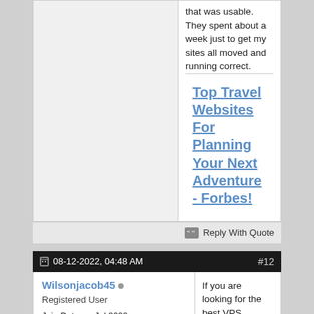that was usable. They spent about a week just to get my sites all moved and running correct.
Top Travel Websites For Planning Your Next Adventure - Forbes!
Reply With Quote
08-12-2022, 04:48 AM  #12
Wilsonjacob45
Registered User
Join Date: Jul 2020
Posts: 211
If you are looking for the best VPS hosting services then there are a lot of best and affordable VPS